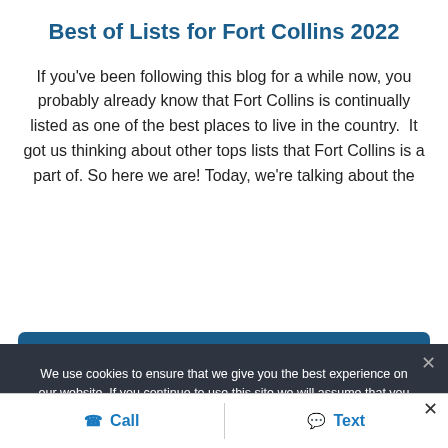Best of Lists for Fort Collins 2022
If you’ve been following this blog for a while now, you probably already know that Fort Collins is continually listed as one of the best places to live in the country.  It got us thinking about other tops lists that Fort Collins is a part of. So here we are! Today, we’re talking about the
We use cookies to ensure that we give you the best experience on our website. If you continue to use this site we will assume that you are ok with this.
Call   Text